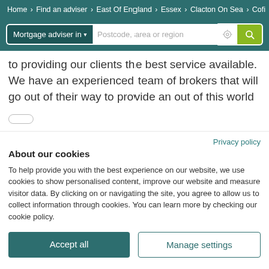Home > Find an adviser > East Of England > Essex > Clacton On Sea > Cofi
to providing our clients the best service available. We have an experienced team of brokers that will go out of their way to provide an out of this world
Privacy policy
About our cookies
To help provide you with the best experience on our website, we use cookies to show personalised content, improve our website and measure visitor data. By clicking on or navigating the site, you agree to allow us to collect information through cookies. You can learn more by checking our cookie policy.
Accept all
Manage settings